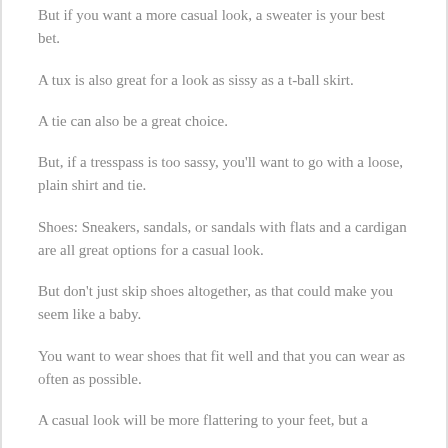But if you want a more casual look, a sweater is your best bet.
A tux is also great for a look as sissy as a t-ball skirt.
A tie can also be a great choice.
But, if a tresspass is too sassy, you'll want to go with a loose, plain shirt and tie.
Shoes: Sneakers, sandals, or sandals with flats and a cardigan are all great options for a casual look.
But don't just skip shoes altogether, as that could make you seem like a baby.
You want to wear shoes that fit well and that you can wear as often as possible.
A casual look will be more flattering to your feet, but a